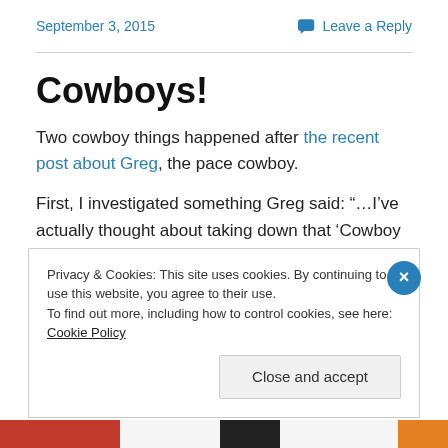September 3, 2015    Leave a Reply
Cowboys!
Two cowboy things happened after the recent post about Greg, the pace cowboy.
First, I investigated something Greg said: “…I’ve actually thought about taking down that ‘Cowboy Marathon’ record
Privacy & Cookies: This site uses cookies. By continuing to use this website, you agree to their use.
To find out more, including how to control cookies, see here: Cookie Policy